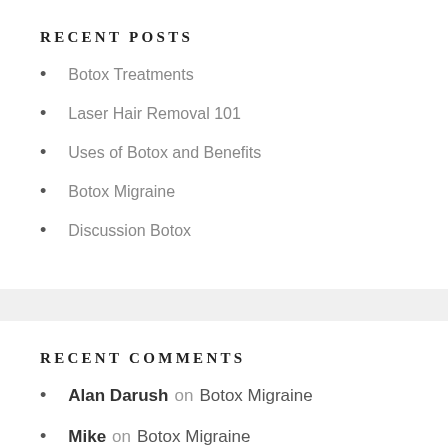RECENT POSTS
Botox Treatments
Laser Hair Removal 101
Uses of Botox and Benefits
Botox Migraine
Discussion Botox
RECENT COMMENTS
Alan Darush on Botox Migraine
Mike on Botox Migraine